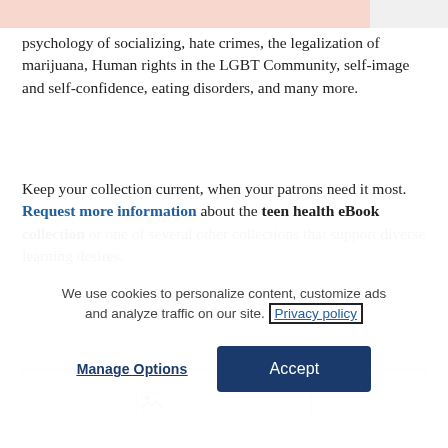psychology of socializing, hate crimes, the legalization of marijuana, Human rights in the LGBT Community, self-image and self-confidence, eating disorders, and many more.
Keep your collection current, when your patrons need it most. Request more information about the teen health eBook collection or one of several other collections that support diverse learning desires.
[Figure (photo): Broken image placeholder inside a light gray bordered box]
We use cookies to personalize content, customize ads and analyze traffic on our site. Privacy policy
Manage Options | Accept